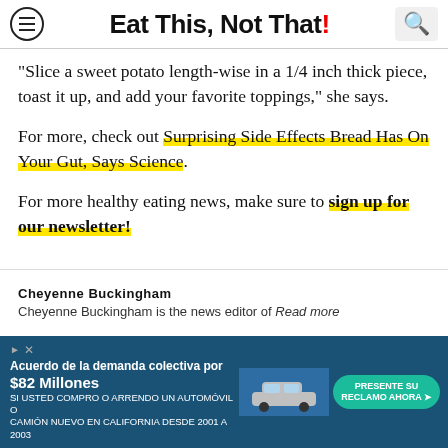Eat This, Not That!
"Slice a sweet potato length-wise in a 1/4 inch thick piece, toast it up, and add your favorite toppings," she says.
For more, check out Surprising Side Effects Bread Has On Your Gut, Says Science.
For more healthy eating news, make sure to sign up for our newsletter!
Cheyenne Buckingham
Cheyenne Buckingham is the news editor of Read more
[Figure (other): Advertisement banner: Acuerdo de la demanda colectiva por $82 Millones. SI USTED COMPRO O ARRENDO UN AUTOMÓVIL O CAMIÓN NUEVO EN CALIFORNIA DESDE 2001 A 2003. PRESENTE SU RECLAMO AHORA.]